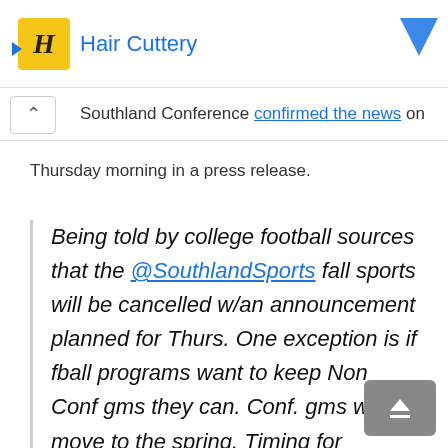[Figure (screenshot): Hair Cuttery advertisement logo bar with yellow square logo and blue 'Hair Cuttery' text, with a blue arrow/chevron on the right]
Southland Conference confirmed the news on Thursday morning in a press release.
Being told by college football sources that the @SouthlandSports fall sports will be cancelled w/an announcement planned for Thurs. One exception is if fball programs want to keep Non Conf gms they can. Conf. gms will move to the spring. Timing for camp/games